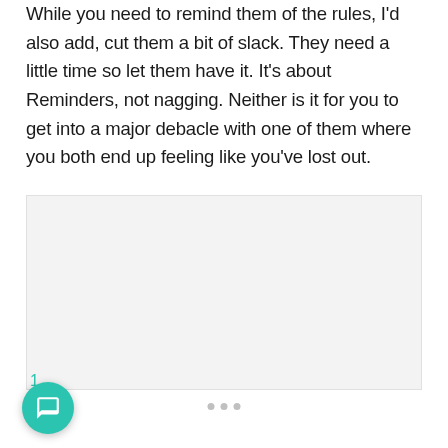While you need to remind them of the rules, I'd also add, cut them a bit of slack. They need a little time so let them have it. It's about Reminders, not nagging. Neither is it for you to get into a major debacle with one of them where you both end up feeling like you've lost out.
[Figure (other): Light gray rectangular placeholder image box]
1